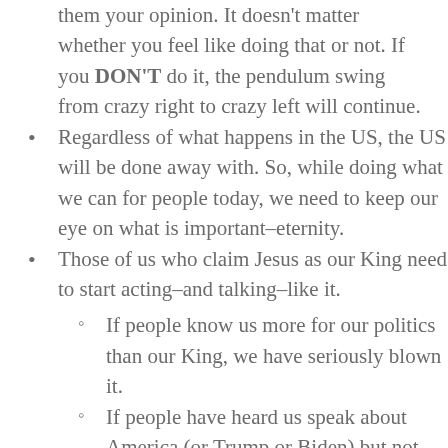them your opinion. It doesn't matter whether you feel like doing that or not. If you DON'T do it, the pendulum swing from crazy right to crazy left will continue.
Regardless of what happens in the US, the US will be done away with. So, while doing what we can for people today, we need to keep our eye on what is important–eternity.
Those of us who claim Jesus as our King need to start acting–and talking–like it.
If people know us more for our politics than our King, we have seriously blown it.
If people have heard us speak about America (or Trump or Biden) but not